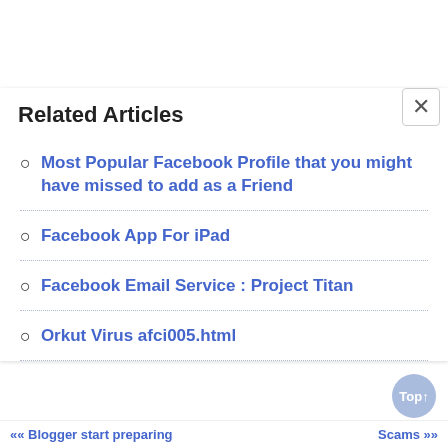Related Articles
Most Popular Facebook Profile that you might have missed to add as a Friend
Facebook App For iPad
Facebook Email Service : Project Titan
Orkut Virus afci005.html
«« Blogger start preparing ... Scams »»